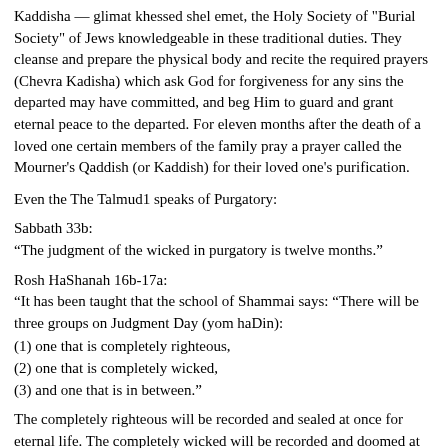Kaddisha — glimat khessed shel emet, the Holy Society or Burial Society of Jews knowledgeable in these traditional duties. They cleanse and prepare the physical body and recite the required prayers (Chevra Kadisha) which ask God for forgiveness for any sins the departed may have committed, and beg Him to guard and grant eternal peace to the departed. For eleven months after the death of a loved one certain members of the family pray a prayer called the Mourner's Qaddish (or Kaddish) for their loved one's purification.
Even the The Talmud1 speaks of Purgatory:
Sabbath 33b:
“The judgment of the wicked in purgatory is twelve months.”
Rosh HaShanah 16b-17a:
“It has been taught that the school of Shammai says: “There will be three groups on Judgment Day (yom haDin):
(1) one that is completely righteous,
(2) one that is completely wicked,
(3) and one that is in between.”
The completely righteous will be recorded and sealed at once for eternal life. The completely wicked will be recorded and doomed at once to Gehinnom, as it says: “And many who sleep in the dust of the earth shall rise up, some to eternal life and some to shame